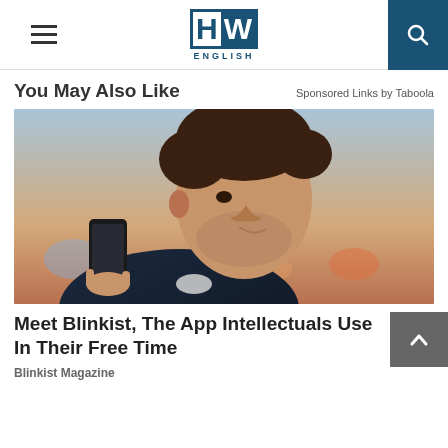HW ENGLISH
You May Also Like
Sponsored Links by Taboola
[Figure (photo): A man in a dark navy shirt smiling while looking at a smartphone, with a blurred city background at dusk.]
Meet Blinkist, The App Intellectuals Use In Their Free Time
Blinkist Magazine